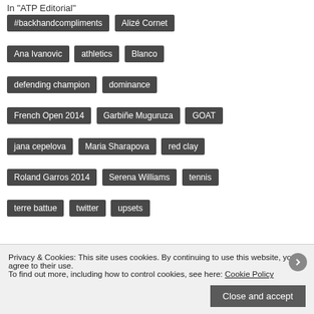In "ATP Editorial"
#backhandcompliments
Alizé Cornet
Ana Ivanovic
athletics
Blanco
defending champion
dominance
French Open 2014
Garbiñe Muguruza
GOAT
jana cepelova
Maria Sharapova
red clay
Roland Garros 2014
Serena Williams
tennis
terre battue
twitter
upsets
Privacy & Cookies: This site uses cookies. By continuing to use this website, you agree to their use.
To find out more, including how to control cookies, see here: Cookie Policy
Close and accept